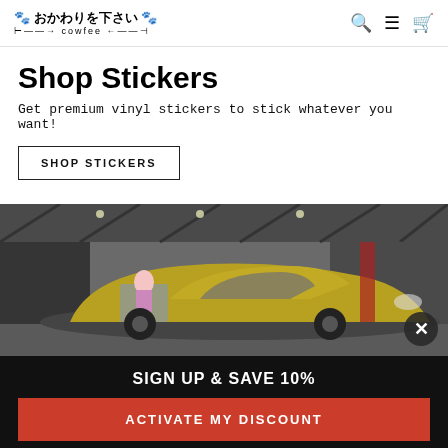🐾 おかわりを下さい 🐾 cowfee
Shop Stickers
Get premium vinyl stickers to stick whatever you want!
SHOP STICKERS
[Figure (photo): A yellow/gold Japanese sports car (Nissan Skyline/similar) with anime character wrap, parked at what appears to be a car show or convention hall with overhead truss lighting. A close (X) button overlay appears bottom right.]
SIGN UP & SAVE 10%
ACTIVATE MY DISCOUNT